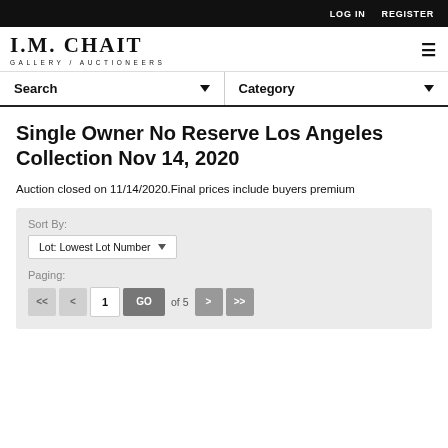LOG IN   REGISTER
[Figure (logo): I.M. CHAIT GALLERY / AUCTIONEERS logo]
Search   Category
Single Owner No Reserve Los Angeles Collection Nov 14, 2020
Auction closed on 11/14/2020.Final prices include buyers premium
Sort By: Lot: Lowest Lot Number  Paging: << < 1 GO of 5 > >>